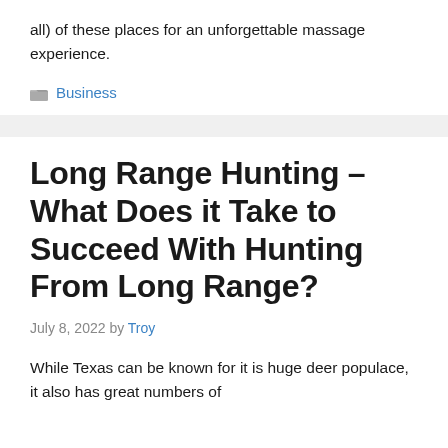all) of these places for an unforgettable massage experience.
Business
Long Range Hunting – What Does it Take to Succeed With Hunting From Long Range?
July 8, 2022 by Troy
While Texas can be known for it is huge deer populace, it also has great numbers of